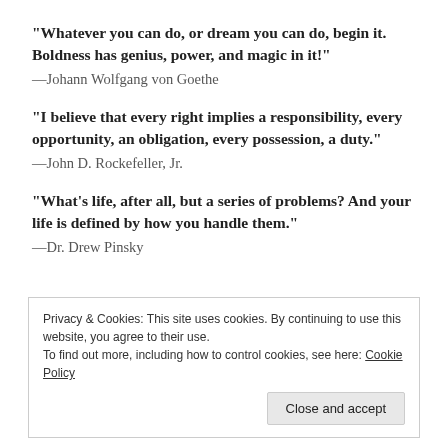“Whatever you can do, or dream you can do, begin it. Boldness has genius, power, and magic in it!”
—Johann Wolfgang von Goethe
“I believe that every right implies a responsibility, every opportunity, an obligation, every possession, a duty.”
—John D. Rockefeller, Jr.
“What’s life, after all, but a series of problems? And your life is defined by how you handle them.”
—Dr. Drew Pinsky
Privacy & Cookies: This site uses cookies. By continuing to use this website, you agree to their use.
To find out more, including how to control cookies, see here: Cookie Policy
Close and accept